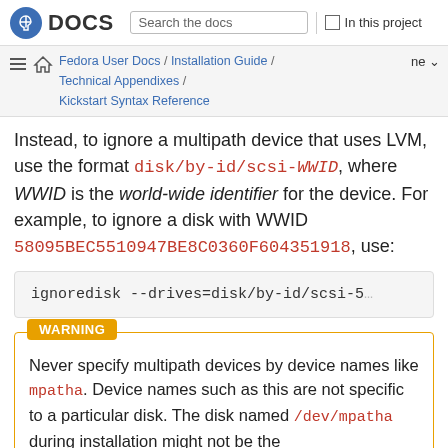DOCS | Search the docs | In this project
Fedora User Docs / Installation Guide / Technical Appendixes / Kickstart Syntax Reference | ne
Instead, to ignore a multipath device that uses LVM, use the format disk/by-id/scsi-WWID, where WWID is the world-wide identifier for the device. For example, to ignore a disk with WWID 58095BEC5510947BE8C0360F604351918, use:
ignoredisk --drives=disk/by-id/scsi-5
WARNING
Never specify multipath devices by device names like mpatha. Device names such as this are not specific to a particular disk. The disk named /dev/mpatha during installation might not be the